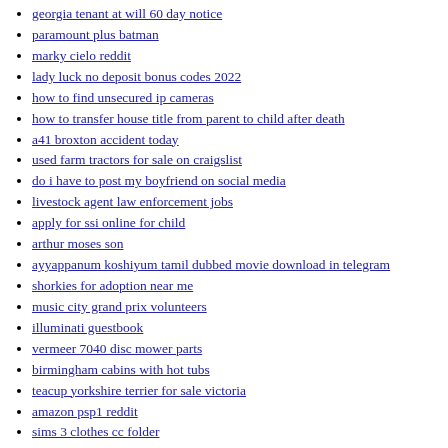georgia tenant at will 60 day notice
paramount plus batman
marky cielo reddit
lady luck no deposit bonus codes 2022
how to find unsecured ip cameras
how to transfer house title from parent to child after death
a41 broxton accident today
used farm tractors for sale on craigslist
do i have to post my boyfriend on social media
livestock agent law enforcement jobs
apply for ssi online for child
arthur moses son
ayyappanum koshiyum tamil dubbed movie download in telegram
shorkies for adoption near me
music city grand prix volunteers
illuminati guestbook
vermeer 7040 disc mower parts
birmingham cabins with hot tubs
teacup yorkshire terrier for sale victoria
amazon psp1 reddit
sims 3 clothes cc folder
long distance transportation services near me
realtors wisconsin
my unexpected marriage to the ceo by pumpkin witch